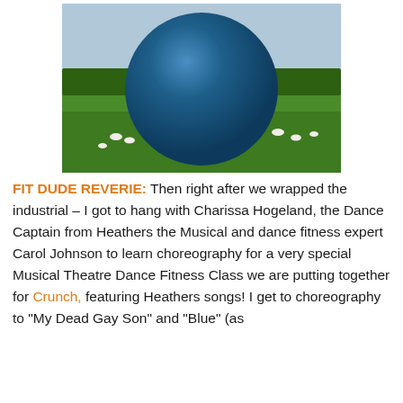[Figure (photo): A large blue sphere/ball sitting on a green grassy countryside landscape with sheep grazing in the background and trees on the horizon under a cloudy sky.]
FIT DUDE REVERIE: Then right after we wrapped the industrial – I got to hang with Charissa Hogeland, the Dance Captain from Heathers the Musical and dance fitness expert Carol Johnson to learn choreography for a very special Musical Theatre Dance Fitness Class we are putting together for Crunch, featuring Heathers songs! I get to choreography to "My Dead Gay Son" and "Blue" (as